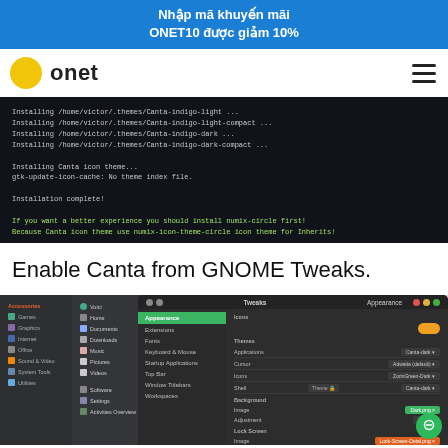Nhập mã khuyến mãi ONET10 được giảm 10%
[Figure (logo): Onet logo with yellow circle and bold 'onet' text, hamburger menu icon on the right]
[Figure (screenshot): Terminal window showing Canta theme installation output with green highlighted warning text]
Enable Canta from GNOME Tweaks.
[Figure (screenshot): GNOME Tweaks appearance settings window showing Canta theme selected, with app menu overlay]